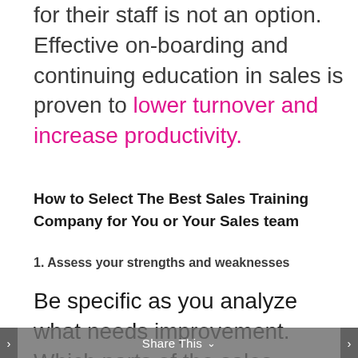for their staff is not an option. Effective on-boarding and continuing education in sales is proven to lower turnover and increase productivity.
How to Select The Best Sales Training Company for You or Your Sales team
1. Assess your strengths and weaknesses
Be specific as you analyze what needs improvement. Which parts of the sales process are floundering?
Share This